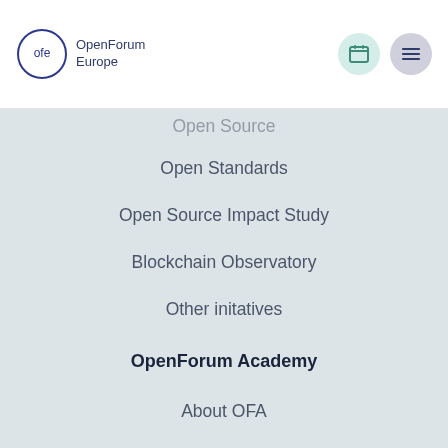[Figure (logo): OpenForum Europe logo: circle with 'ofe' text and 'OpenForum Europe' wordmark]
Open Source
Open Standards
Open Source Impact Study
Blockchain Observatory
Other initatives
OpenForum Academy
About OFA
Fellows
OFA Publications